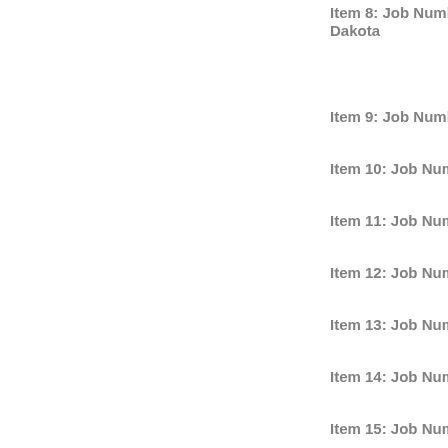Item 8: Job Number 276…Dakota
Item 9: Job Number 277…
Item 10: Job Number 28…
Item 11: Job Number 28…
Item 12: Job Number  28…
Item 13: Job Number 28…
Item 14: Job Number 28…
Item 15: Job Number 28…Dakota
Item 16: Job Number 29…
Item 17: Job Number 29…
Oversize Folder 3
Item 1: Job Number  295…
Item 2: Job Number 296…
Item 3: Job Number  297…
Item 4: Job Number 298…
Item 5: Job Number  299…